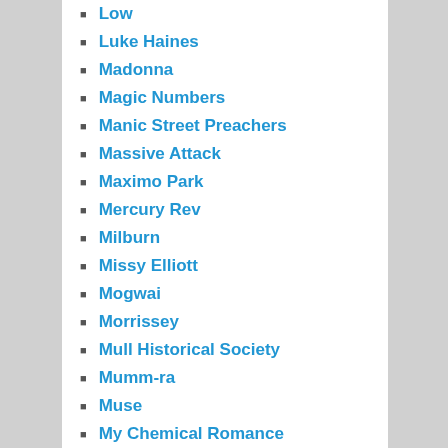Low
Luke Haines
Madonna
Magic Numbers
Manic Street Preachers
Massive Attack
Maximo Park
Mercury Rev
Milburn
Missy Elliott
Mogwai
Morrissey
Mull Historical Society
Mumm-ra
Muse
My Chemical Romance
My Latest Novel
Mylo
Mystery Jets
New Model Army
Nick Cave and the Bad Seeds
Peter Bjorn and John